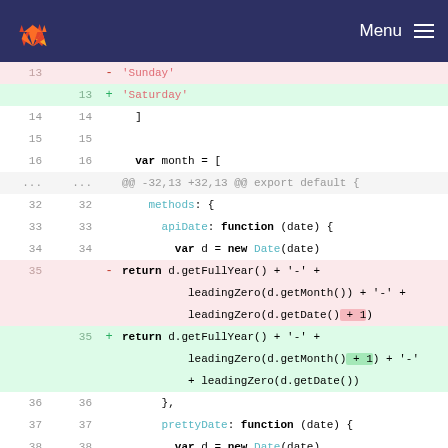GitLab diff view header with logo and Menu
[Figure (screenshot): GitLab code diff view showing changes to a JavaScript file. Lines 13-40 are visible with line number columns, diff markers, and syntax-highlighted code.]